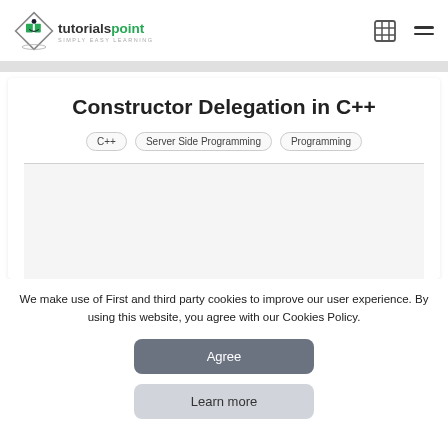tutorialspoint – SIMPLY EASY LEARNING
Constructor Delegation in C++
C++
Server Side Programming
Programming
We make use of First and third party cookies to improve our user experience. By using this website, you agree with our Cookies Policy.
Agree
Learn more